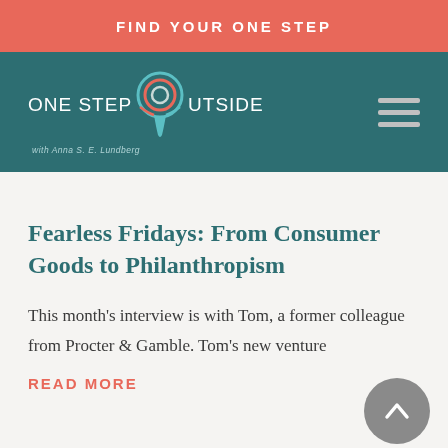FIND YOUR ONE STEP
[Figure (logo): One Step Outside logo with teal navigation bar and hamburger menu icon. Logo shows 'ONE STEP OUTSIDE with Anna S. E. Lundberg' with a decorative ribbon/pin icon. Hamburger menu on the right.]
Fearless Fridays: From Consumer Goods to Philanthropism
This month's interview is with Tom, a former colleague from Procter & Gamble. Tom's new venture
READ MORE